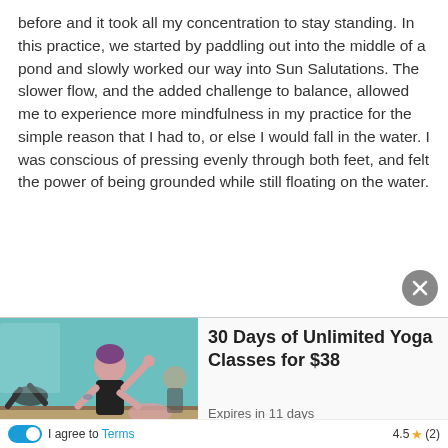before and it took all my concentration to stay standing. In this practice, we started by paddling out into the middle of a pond and slowly worked our way into Sun Salutations. The slower flow, and the added challenge to balance, allowed me to experience more mindfulness in my practice for the simple reason that I had to, or else I would fall in the water. I was conscious of pressing evenly through both feet, and felt the power of being grounded while still floating on the water.
[Figure (photo): Photo of yoga class with instructor guiding students in poses]
30 Days of Unlimited Yoga Classes for $38
Expires in 11 days
Enter your phone number
CLAIM OFFER
I agree to Terms
4.5 ★ (2)